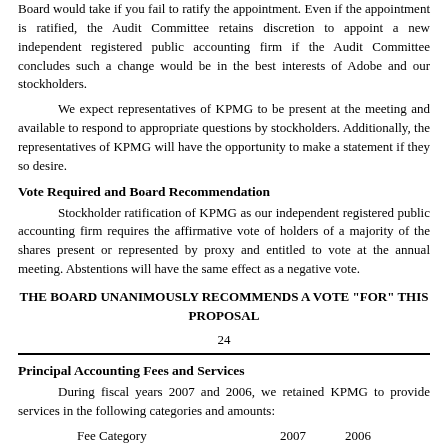Board would take if you fail to ratify the appointment. Even if the appointment is ratified, the Audit Committee retains discretion to appoint a new independent registered public accounting firm if the Audit Committee concludes such a change would be in the best interests of Adobe and our stockholders.
We expect representatives of KPMG to be present at the meeting and available to respond to appropriate questions by stockholders. Additionally, the representatives of KPMG will have the opportunity to make a statement if they so desire.
Vote Required and Board Recommendation
Stockholder ratification of KPMG as our independent registered public accounting firm requires the affirmative vote of holders of a majority of the shares present or represented by proxy and entitled to vote at the annual meeting. Abstentions will have the same effect as a negative vote.
THE BOARD UNANIMOUSLY RECOMMENDS A VOTE "FOR" THIS PROPOSAL
24
Principal Accounting Fees and Services
During fiscal years 2007 and 2006, we retained KPMG to provide services in the following categories and amounts:
Fee Category    2007    2006